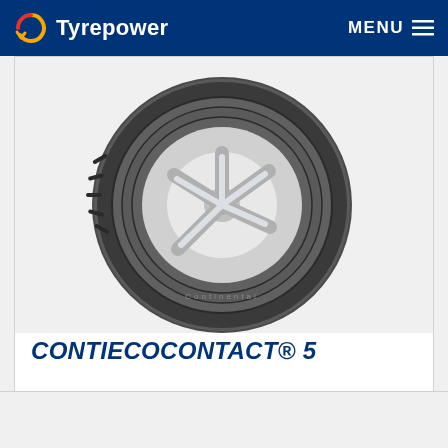Tyrepower  MENU
[Figure (photo): Continental ContiEcoContact 5 tyre with silver alloy wheel, shown at an angle against a light background.]
CONTIECOCONTACT® 5
MORE INFO